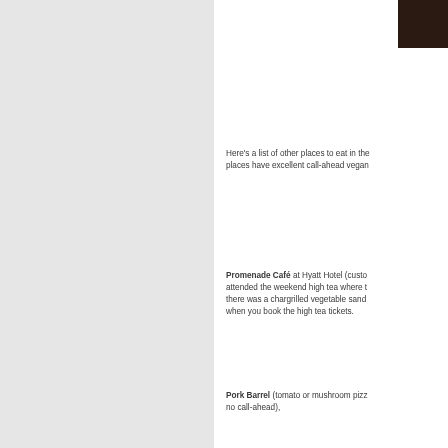[Figure (photo): Dark brown textured photo in top-right corner]
Here's a list of other places to eat in the places have excellent call-ahead vegan
Promenade Café at Hyatt Hotel (custo attended the weekend high tea where there was a chargrilled vegetable sand when you book the high tea tickets.
Pork Barrel (tomato or mushroom pizz no call-ahead),